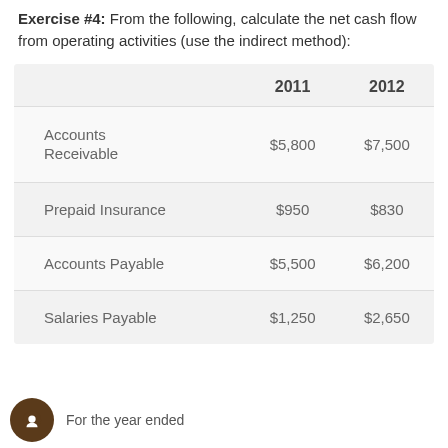Exercise #4: From the following, calculate the net cash flow from operating activities (use the indirect method):
|  | 2011 | 2012 |
| --- | --- | --- |
| Accounts Receivable | $5,800 | $7,500 |
| Prepaid Insurance | $950 | $830 |
| Accounts Payable | $5,500 | $6,200 |
| Salaries Payable | $1,250 | $2,650 |
For the year ended